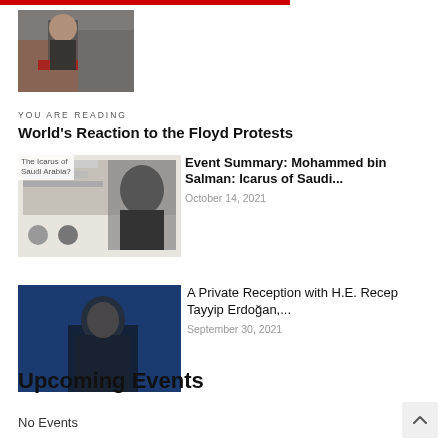[Figure (photo): Protest scene with person in foreground, red car and crowd in background]
YOU ARE READING
World's Reaction to the Floyd Protests
[Figure (photo): Book cover or article image: The Icarus of Saudi Arabia? with portrait of Mohammed bin Salman]
Event Summary: Mohammed bin Salman: Icarus of Saudi...
October 14, 2021
[Figure (photo): Man in dark suit speaking at podium with red emblem, against blue background]
A Private Reception with H.E. Recep Tayyip Erdoğan,...
September 30, 2021
Upcoming Events
No Events